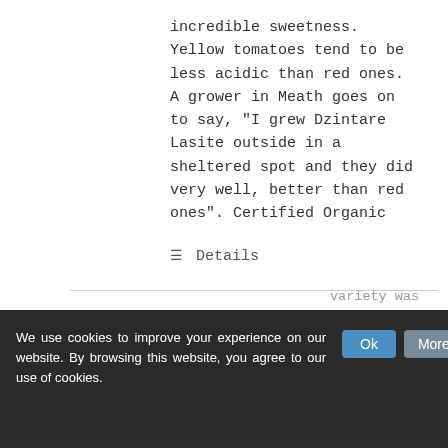incredible sweetness. Yellow tomatoes tend to be less acidic than red ones. A grower in Meath goes on to say, "I grew Dzintare Lasite outside in a sheltered spot and they did very well, better than red ones". Certified Organic
Details
Dorenia Tomato
€2.95
[Figure (photo): Photo of red tomatoes on the vine with green tomatoes, product image for Dorenia Tomato]
We use cookies to improve your experience on our website. By browsing this website, you agree to our use of cookies.
variety was bred by biodynamic growers in Germany. A